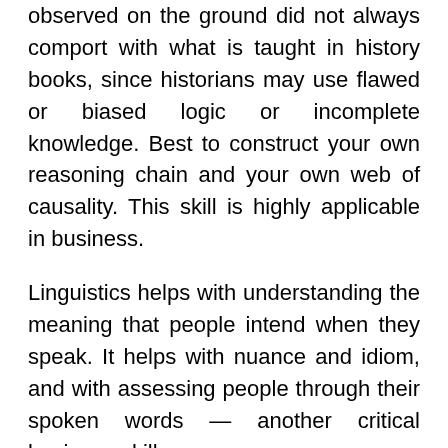observed on the ground did not always comport with what is taught in history books, since historians may use flawed or biased logic or incomplete knowledge. Best to construct your own reasoning chain and your own web of causality. This skill is highly applicable in business.
Linguistics helps with understanding the meaning that people intend when they speak. It helps with nuance and idiom, and with assessing people through their spoken words — another critical business skill.